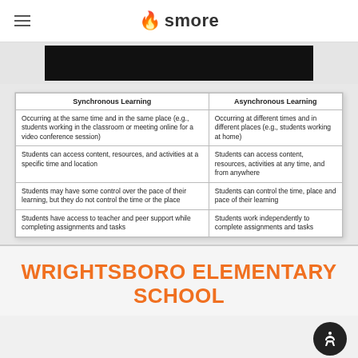smore
[Figure (screenshot): Dark video thumbnail strip]
| Synchronous Learning | Asynchronous Learning |
| --- | --- |
| Occurring at the same time and in the same place (e.g., students working in the classroom or meeting online for a video conference session) | Occurring at different times and in different places (e.g., students working at home) |
| Students can access content, resources, and activities at a specific time and location | Students can access content, resources, activities at any time, and from anywhere |
| Students may have some control over the pace of their learning, but they do not control the time or the place | Students can control the time, place and pace of their learning |
| Students have access to teacher and peer support while completing assignments and tasks | Students work independently to complete assignments and tasks |
WRIGHTSBORO ELEMENTARY SCHOOL